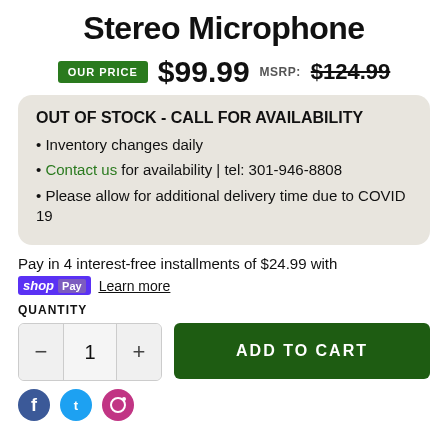Stereo Microphone
OUR PRICE $99.99 MSRP: $124.99
OUT OF STOCK - CALL FOR AVAILABILITY
• Inventory changes daily
• Contact us for availability | tel: 301-946-8808
• Please allow for additional delivery time due to COVID 19
Pay in 4 interest-free installments of $24.99 with shop Pay Learn more
QUANTITY
1  ADD TO CART